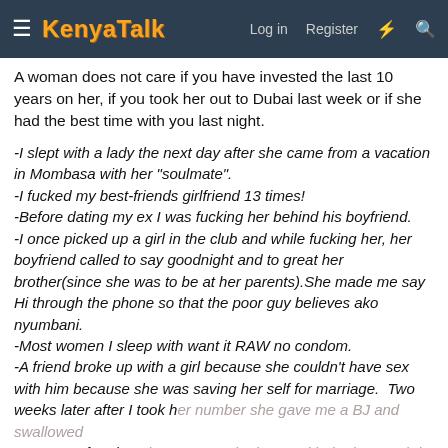KenyaTalk | Log in | Register
A woman does not care if you have invested the last 10 years on her, if you took her out to Dubai last week or if she had the best time with you last night.
-I slept with a lady the next day after she came from a vacation in Mombasa with her "soulmate".
-I fucked my best-friends girlfriend 13 times!
-Before dating my ex I was fucking her behind his boyfriend.
-I once picked up a girl in the club and while fucking her, her boyfriend called to say goodnight and to great her brother(since she was to be at her parents).She made me say Hi through the phone so that the poor guy believes ako nyumbani.
-Most women I sleep with want it RAW no condom.
-A friend broke up with a girl because she couldn't have sex with him because she was saving her self for marriage. Two weeks later after I took her number she gave me a BJ and swallowed my nut!!! After that she gave me the booty with the best arch i have ever seen.
Most blue-pilled men live in a fantasy they have a an image of
You cannot view some content because you are browsing this site as a Guest. CREATE AN ACCOUNT to enjoy access to all content.